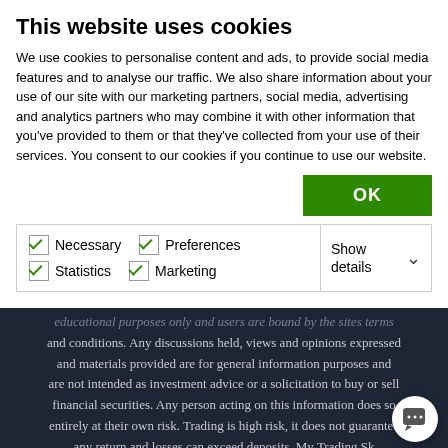This website uses cookies
We use cookies to personalise content and ads, to provide social media features and to analyse our traffic. We also share information about your use of our site with our marketing partners, social media, advertising and analytics partners who may combine it with other information that you've provided to them or that they've collected from your use of their services. You consent to our cookies if you continue to use our website.
OK
Necessary  Preferences  Statistics  Marketing  Show details
educational purposes only and users are bound by the sites terms and conditions. Any discussions held, views and opinions expressed and materials provided are for general information purposes and are not intended as investment advice or a solicitation to buy or sell financial securities. Any person acting on this information does so entirely at their own risk. Trading is high risk, it does not guarantee any return and losses can exceed deposits. My Trading Sk employees and directors shall not be held responsible for a that you may incur, either directly or indirectly arising from any